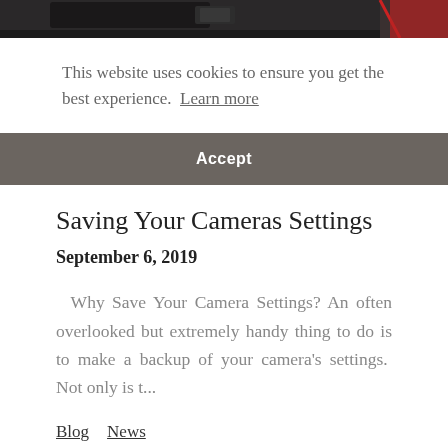[Figure (photo): Top portion of a DSLR camera, dark/black body, shown in a cropped horizontal banner]
This website uses cookies to ensure you get the best experience.  Learn more
Accept
Saving Your Cameras Settings
September 6, 2019
Why Save Your Camera Settings? An often overlooked but extremely handy thing to do is to make a backup of your camera's settings.  Not only is t...
Blog  News